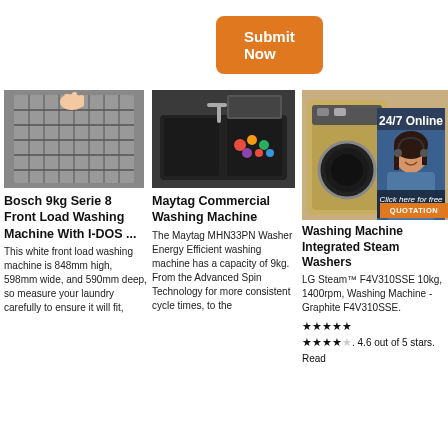[Figure (other): Orange 'Submit Now' button]
[Figure (photo): Dishwasher rack interior, black and white]
[Figure (photo): Maytag sink with colorful items inside]
[Figure (photo): Washing machine gold/graphite color with customer service representative overlay and 24/7 Online chat box]
Bosch 9kg Serie 8 Front Load Washing Machine With I-DOS ...
This white front load washing machine is 848mm high, 598mm wide, and 590mm deep, so measure your laundry carefully to ensure it will fit,
Maytag Commercial Washing Machine
The Maytag MHN33PN Washer Energy Efficient washing machine has a capacity of 9kg. From the Advanced Spin Technology for more consistent cycle times, to the
Washing Machine Integrated Steam Washers
LG Steam™ F4V310SSE 10kg, 1400rpm, Washing Machine - Graphite F4V310SSE.
★★★★★ . 4.6 out of 5 stars. Read